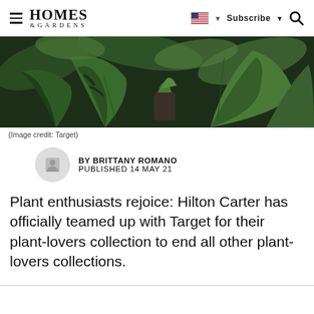Homes & Gardens — Subscribe — Search
[Figure (photo): A lush collection of tropical houseplants including monstera and large-leafed green plants against a dark background, displayed in a store or home setting.]
(Image credit: Target)
BY BRITTANY ROMANO
PUBLISHED 14 MAY 21
Plant enthusiasts rejoice: Hilton Carter has officially teamed up with Target for their plant-lovers collection to end all other plant-lovers collections.